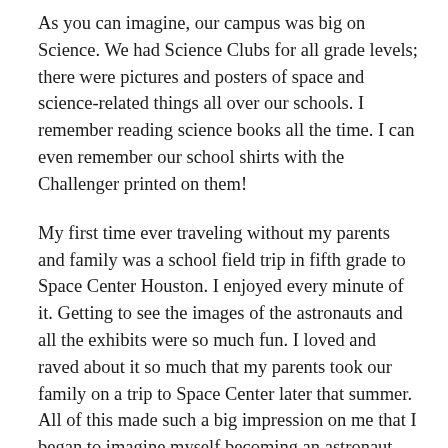As you can imagine, our campus was big on Science. We had Science Clubs for all grade levels; there were pictures and posters of space and science-related things all over our schools. I remember reading science books all the time. I can even remember our school shirts with the Challenger printed on them!
My first time ever traveling without my parents and family was a school field trip in fifth grade to Space Center Houston. I enjoyed every minute of it. Getting to see the images of the astronauts and all the exhibits were so much fun. I loved and raved about it so much that my parents took our family on a trip to Space Center later that summer. All of this made such a big impression on me that I began to imagine myself becoming an astronaut one day.